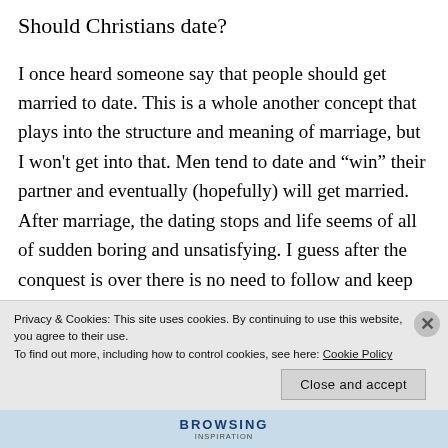Should Christians date?
I once heard someone say that people should get married to date. This is a whole another concept that plays into the structure and meaning of marriage, but I won't get into that. Men tend to date and “win” their partner and eventually (hopefully) will get married. After marriage, the dating stops and life seems of all of sudden boring and unsatisfying. I guess after the conquest is over there is no need to follow and keep the excitement going. Wrong! This is when marriage should
Privacy & Cookies: This site uses cookies. By continuing to use this website, you agree to their use.
To find out more, including how to control cookies, see here: Cookie Policy
Close and accept